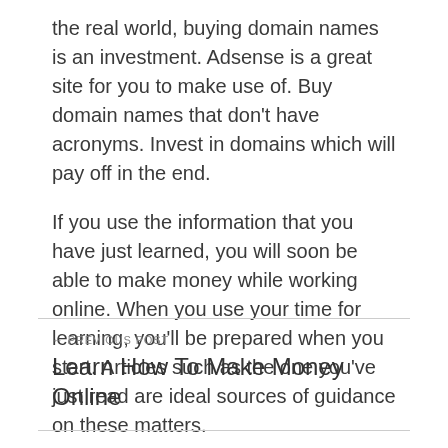the real world, buying domain names is an investment. Adsense is a great site for you to make use of. Buy domain names that don't have acronyms. Invest in domains which will pay off in the end.
If you use the information that you have just learned, you will soon be able to make money while working online. When you use your time for learning, you'll be prepared when you start. Articles such as the one you've just read are ideal sources of guidance on these matters.
← PREVIOUS POST
Learn How To Make Money Online